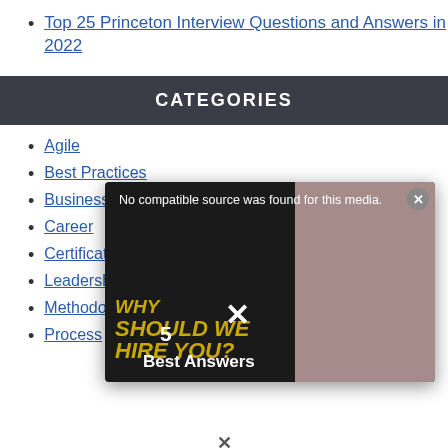Top 25 Princeton Interview Questions and Answers in 2022
CATEGORIES
Agile
Best Practices
Business
Career
Certification
Leadership
Methodology
Process
[Figure (screenshot): Video player overlay showing 'No compatible source was found for this media.' text, with background text reading 'WHY SHOULD WE HIRE YOU? 5 Best Answers' and a person visible on the right side.]